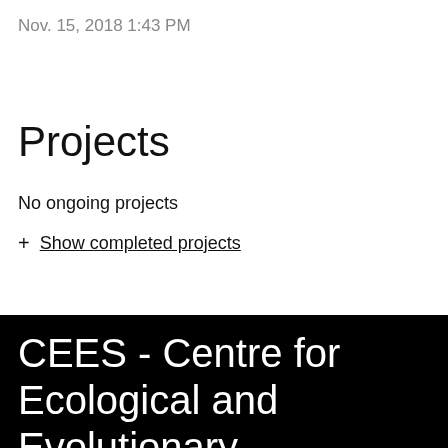Nov. 15, 2018 1:43 PM
Projects
No ongoing projects
+ Show completed projects
CEES - Centre for Ecological and Evolutionary